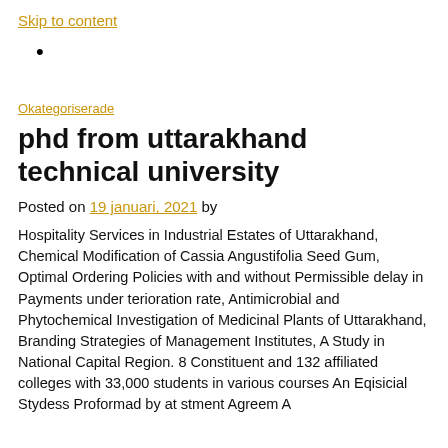Skip to content
•
Okategoriserade
phd from uttarakhand technical university
Posted on 19 januari, 2021 by
Hospitality Services in Industrial Estates of Uttarakhand, Chemical Modification of Cassia Angustifolia Seed Gum, Optimal Ordering Policies with and without Permissible delay in Payments under terioration rate, Antimicrobial and Phytochemical Investigation of Medicinal Plants of Uttarakhand, Branding Strategies of Management Institutes, A Study in National Capital Region. 8 Constituent and 132 affiliated colleges with 33,000 students in various courses An Eqisicial Stydess Proformad by at stment Agreem A...